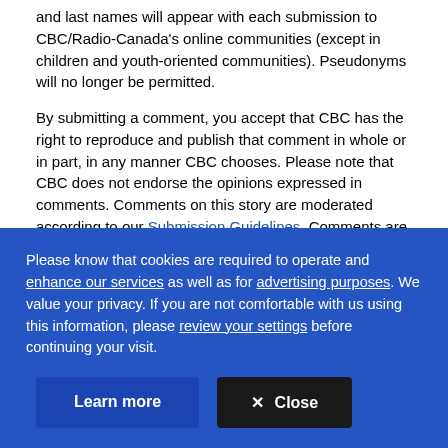and last names will appear with each submission to CBC/Radio-Canada's online communities (except in children and youth-oriented communities). Pseudonyms will no longer be permitted.
By submitting a comment, you accept that CBC has the right to reproduce and publish that comment in whole or in part, in any manner CBC chooses. Please note that CBC does not endorse the opinions expressed in comments. Comments on this story are moderated according to our Submission Guidelines. Comments are welcome while open. We reserve the right to close comments at any time.
Become a CBC Member
Please know that cookies are required to operate and enhance our services as well as for advertising purposes. We value your privacy. If you are not comfortable with us using this information, please review your settings before continuing your visit.